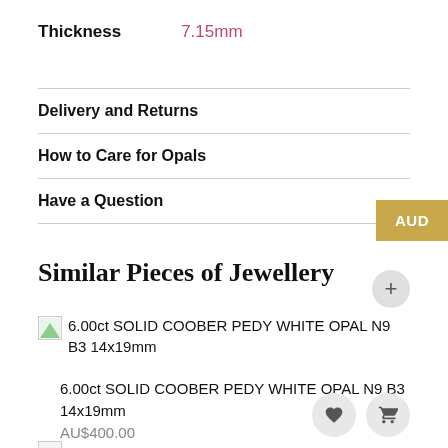Thickness   7.15mm
Delivery and Returns
How to Care for Opals
Have a Question
Similar Pieces of Jewellery
6.00ct SOLID COOBER PEDY WHITE OPAL N9 B3 14x19mm
6.00ct SOLID COOBER PEDY WHITE OPAL N9 B3 14x19mm
AU$400.00